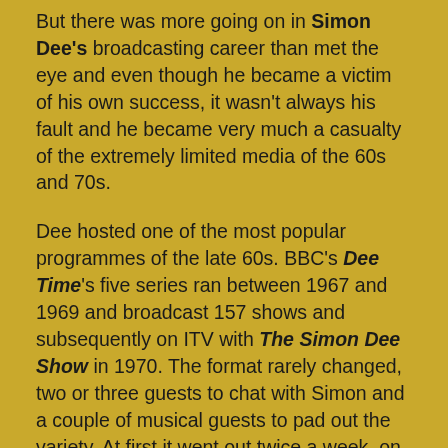But there was more going on in Simon Dee's broadcasting career than met the eye and even though he became a victim of his own success, it wasn't always his fault and he became very much a casualty of the extremely limited media of the 60s and 70s.
Dee hosted one of the most popular programmes of the late 60s. BBC's Dee Time's five series ran between 1967 and 1969 and broadcast 157 shows and subsequently on ITV with The Simon Dee Show in 1970. The format rarely changed, two or three guests to chat with Simon and a couple of musical guests to pad out the variety. At first it went out twice a week, on a Tuesday and Thursday, but as its